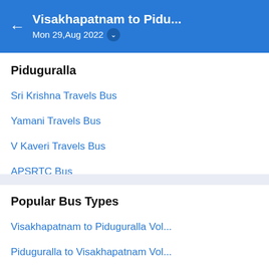Visakhapatnam to Pidu... Mon 29,Aug 2022
Piduguralla
Sri Krishna Travels Bus
Yamani Travels Bus
V Kaveri Travels Bus
APSRTC Bus
Popular Bus Types
Visakhapatnam to Piduguralla Vol...
Piduguralla to Visakhapatnam Vol...
Visakhapatnam to Piduguralla Vol...
Piduguralla to Visakhapatnam Vol...